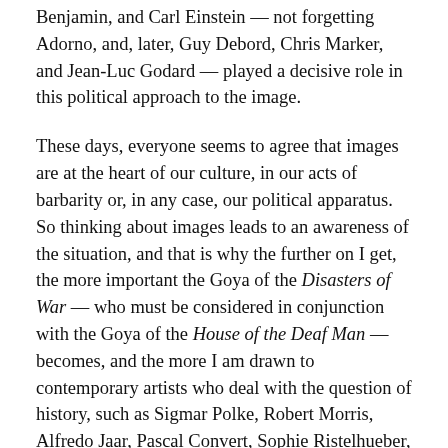Benjamin, and Carl Einstein — not forgetting Adorno, and, later, Guy Debord, Chris Marker, and Jean-Luc Godard — played a decisive role in this political approach to the image.
These days, everyone seems to agree that images are at the heart of our culture, in our acts of barbarity or, in any case, our political apparatus. So thinking about images leads to an awareness of the situation, and that is why the further on I get, the more important the Goya of the Disasters of War — who must be considered in conjunction with the Goya of the House of the Deaf Man — becomes, and the more I am drawn to contemporary artists who deal with the question of history, such as Sigmar Polke, Robert Morris, Alfredo Jaar, Pascal Convert, Sophie Ristelhueber, or Harun Farocki. Today more than ever, images are major political tools. Their efficacy appears ever more immediate. So we must urgently develop a critical eye